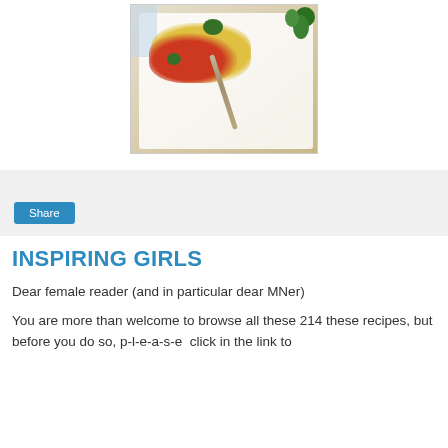[Figure (photo): A plate of scrambled eggs with tomatoes, peppers and herbs with a spoon, accompanied by a glass of water and fresh herbs on the side.]
[Figure (screenshot): A Share button in blue on a light gray background area.]
INSPIRING GIRLS
Dear female reader (and in particular dear MNer)
You are more than welcome to browse all these 214 these recipes, but before you do so, p-l-e-a-s-e  click in the link to